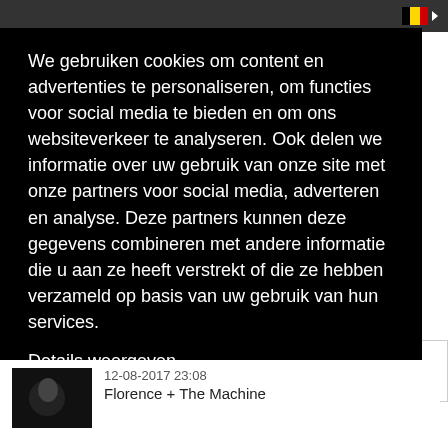We gebruiken cookies om content en advertenties te personaliseren, om functies voor social media te bieden en om ons websiteverkeer te analyseren. Ook delen we informatie over uw gebruik van onze site met onze partners voor social media, adverteren en analyse. Deze partners kunnen deze gegevens combineren met andere informatie die u aan ze heeft verstrekt of die ze hebben verzameld op basis van uw gebruik van hun services.
Details weergeven
Accepteer Cookies!
12-08-2017 23:08
Florence + The Machine